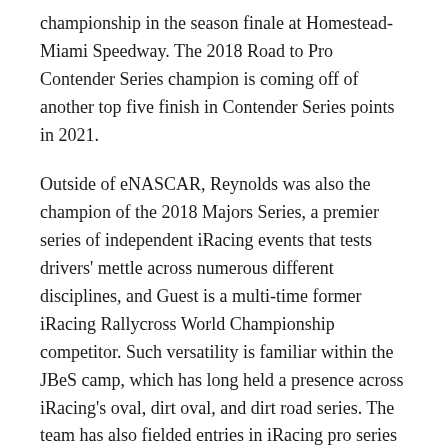championship in the season finale at Homestead-Miami Speedway. The 2018 Road to Pro Contender Series champion is coming off of another top five finish in Contender Series points in 2021.
Outside of eNASCAR, Reynolds was also the champion of the 2018 Majors Series, a premier series of independent iRacing events that tests drivers' mettle across numerous different disciplines, and Guest is a multi-time former iRacing Rallycross World Championship competitor. Such versatility is familiar within the JBeS camp, which has long held a presence across iRacing's oval, dirt oval, and dirt road series. The team has also fielded entries in iRacing pro series based around World of Outlaws, USAC, and rallycross, and its full-time drivers manage iRacing's most successful independent series utilizing the NASCAR Whelen Tour Modified, Pro 4 and Pro 2 short course trucks, and rallycross.
The eNASCAR lineup announcement completes a major week